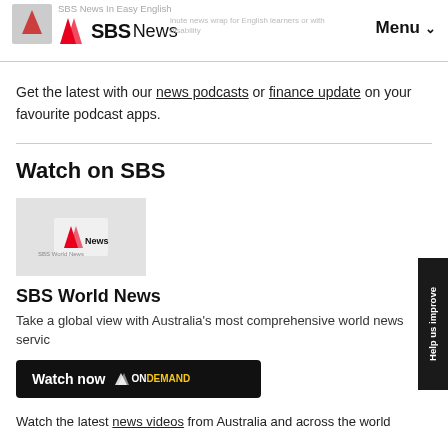SBS News In Easy English — SBS News — Menu
Get the latest with our news podcasts or finance update on your favourite podcast apps.
Watch on SBS
[Figure (logo): SBS World News thumbnail — grey card with SBS logo in center]
SBS World News
Take a global view with Australia's most comprehensive world news servic
Watch now — SBS ON DEMAND button
Watch the latest news videos from Australia and across the world